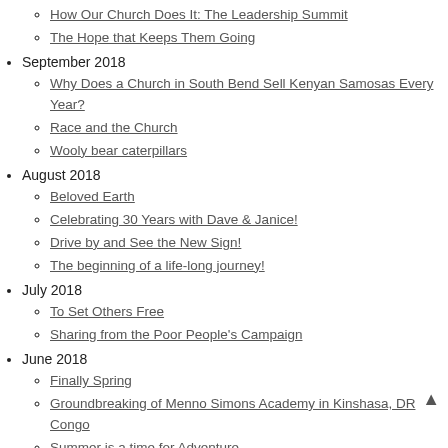How Our Church Does It: The Leadership Summit
The Hope that Keeps Them Going
September 2018
Why Does a Church in South Bend Sell Kenyan Samosas Every Year?
Race and the Church
Wooly bear caterpillars
August 2018
Beloved Earth
Celebrating 30 Years with Dave & Janice!
Drive by and See the New Sign!
The beginning of a life-long journey!
July 2018
To Set Others Free
Sharing from the Poor People's Campaign
June 2018
Finally Spring
Groundbreaking of Menno Simons Academy in Kinshasa, DR Congo
Summer is a time for Adventure
KRMC in the News -- May 2018
May 2018
All Storms Pass Soon Enough
Memorandum from the Youth of Bondeko Mennonite Church
April 2018